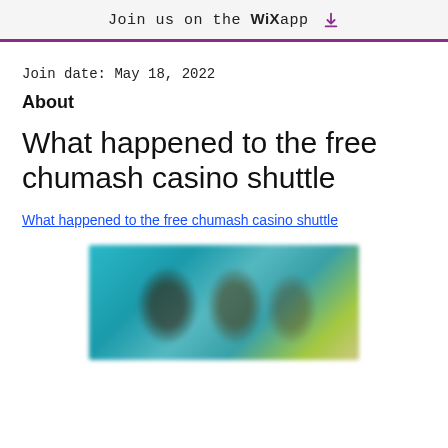Join us on the WiX app ⬇
Join date: May 18, 2022
About
What happened to the free chumash casino shuttle
What happened to the free chumash casino shuttle
[Figure (photo): Blurred image showing people, likely a video thumbnail with teal/green background]